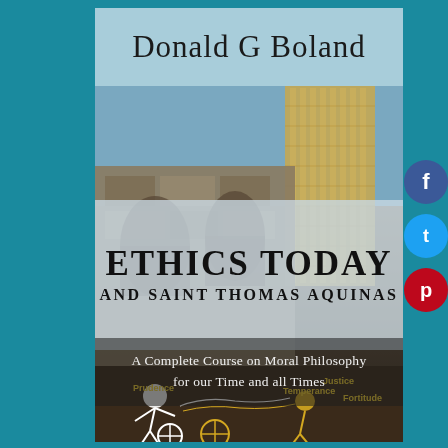[Figure (illustration): Book cover for 'Ethics Today and Saint Thomas Aquinas' by Donald G Boland, showing ancient ruins alongside a modern skyscraper, with a decorative illustration of cardinal virtues (Prudence, Temperance, Justice, Fortitude) at the bottom. Social media share buttons (Facebook, Twitter, Pinterest) visible on the right edge.]
Donald G Boland
ETHICS TODAY
AND SAINT THOMAS AQUINAS
A Complete Course on Moral Philosophy for our Time and all Times